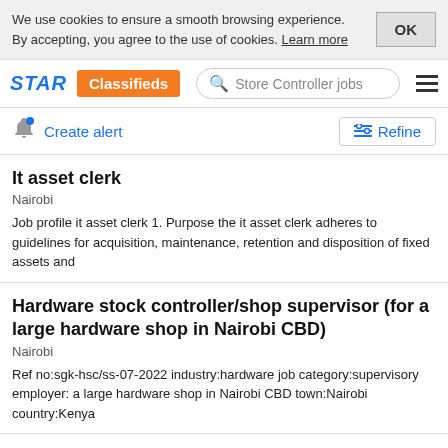We use cookies to ensure a smooth browsing experience. By accepting, you agree to the use of cookies. Learn more
STAR Classifieds — Store Controller jobs
Create alert
Refine
It asset clerk
Nairobi
Job profile it asset clerk 1. Purpose the it asset clerk adheres to guidelines for acquisition, maintenance, retention and disposition of fixed assets and
Hardware stock controller/shop supervisor (for a large hardware shop in Nairobi CBD)
Nairobi
Ref no:sgk-hsc/ss-07-2022 industry:hardware job category:supervisory employer: a large hardware shop in Nairobi CBD town:Nairobi country:Kenya
Food & beverage cost controller at summit human resource & marketing consultant
Summit Human Resources Marketing Consultant